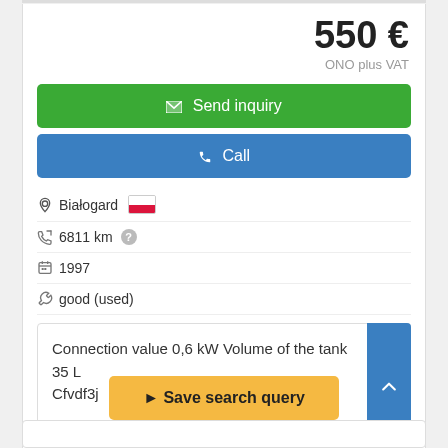550 €
ONO plus VAT
✉ Send inquiry
✆ Call
Białogard [PL flag]
6811 km [?]
1997
good (used)
Connection value 0,6 kW Volume of the tank 35 L Cfvdf3j
Save search query